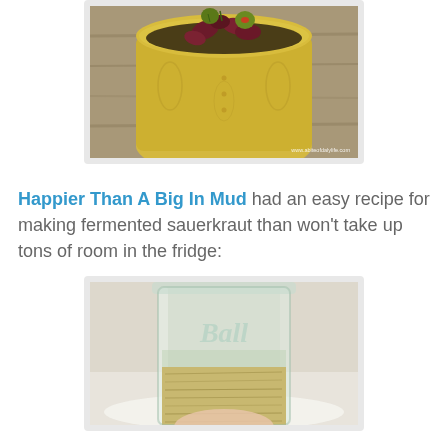[Figure (photo): A yellow ceramic bowl filled with mixed olives (dark red and green) on a wooden surface, with a watermark reading www.abiteofdalylife.com]
Happier Than A Big In Mud had an easy recipe for making fermented sauerkraut than won't take up tons of room in the fridge:
[Figure (photo): A clear Ball mason jar partially filled with shredded sauerkraut, sitting on a white surface]